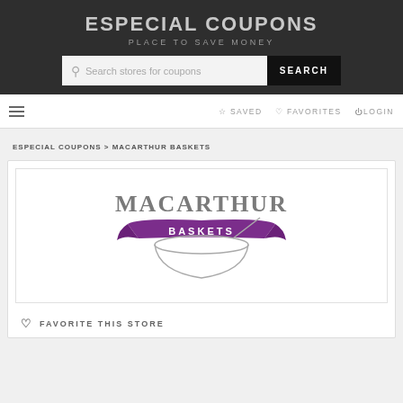ESPECIAL COUPONS
PLACE TO SAVE MONEY
Search stores for coupons
SEARCH
☆ SAVED   ♡ FAVORITES   ⏻LOGIN
ESPECIAL COUPONS > MACARTHUR BASKETS
[Figure (logo): MacArthur Baskets logo with purple ribbon banner and bowl illustration]
♡ FAVORITE THIS STORE